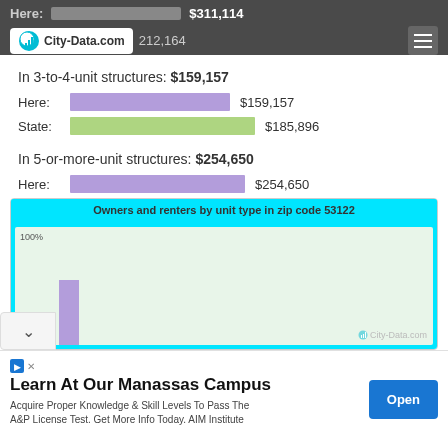Here: $311,114 | City-Data.com | $212,164
In 3-to-4-unit structures: $159,157
Here: $159,157
State: $185,896
In 5-or-more-unit structures: $254,650
Here: $254,650
State: $204,140
[Figure (bar-chart): Partially visible bar chart showing owners and renters by unit type. Y-axis shows 100%. One purple bar visible.]
Learn At Our Manassas Campus
Acquire Proper Knowledge & Skill Levels To Pass The A&P License Test. Get More Info Today. AIM Institute